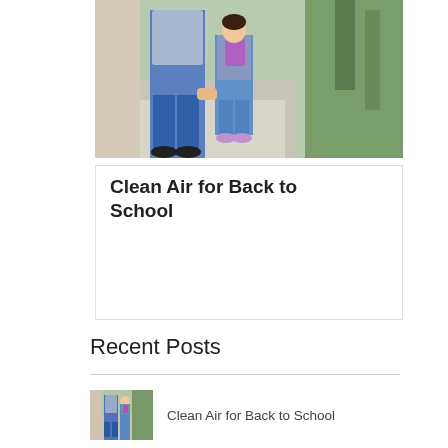[Figure (photo): Adult and young child in overalls with backpack walking hand-in-hand on a sidewalk lined with trees]
Clean Air for Back to School
Recent Posts
[Figure (photo): Small thumbnail of the same adult and child walking on sidewalk]
Clean Air for Back to School